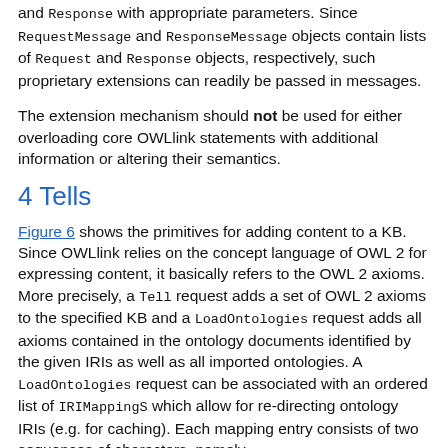and Response with appropriate parameters. Since RequestMessage and ResponseMessage objects contain lists of Request and Response objects, respectively, such proprietary extensions can readily be passed in messages.
The extension mechanism should not be used for either overloading core OWLlink statements with additional information or altering their semantics.
4 Tells
Figure 6 shows the primitives for adding content to a KB. Since OWLlink relies on the concept language of OWL 2 for expressing content, it basically refers to the OWL 2 axioms. More precisely, a Tell request adds a set of OWL 2 axioms to the specified KB and a LoadOntologies request adds all axioms contained in the ontology documents identified by the given IRIs as well as all imported ontologies. A LoadOntologies request can be associated with an ordered list of IRIMappingS which allow for re-directing ontology IRIs (e.g. for caching). Each mapping entry consists of two sequences of characters, namely